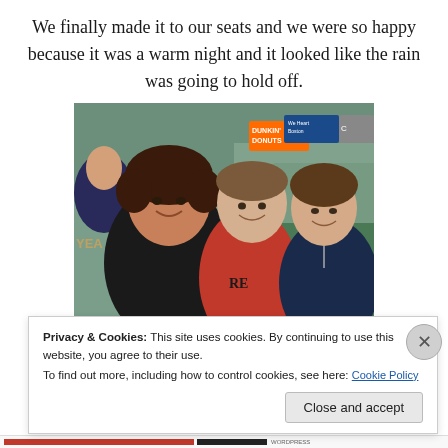We finally made it to our seats and we were so happy because it was a warm night and it looked like the rain was going to hold off.
[Figure (photo): Three women smiling at a baseball game (Fenway Park), one in a black shirt, one in a red Red Sox shirt, one in a navy shirt. Dunkin' Donuts sign visible in background with crowd.]
Privacy & Cookies: This site uses cookies. By continuing to use this website, you agree to their use.
To find out more, including how to control cookies, see here: Cookie Policy